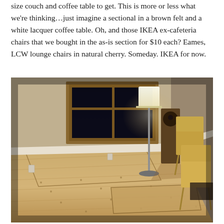size couch and coffee table to get. This is more or less what we're thinking…just imagine a sectional in a brown felt and a white lacquer coffee table. Oh, and those IKEA ex-cafeteria chairs that we bought in the as-is section for $10 each? Eames, LCW lounge chairs in natural cherry. Someday. IKEA for now.
[Figure (photo): Interior room photo showing a sparse living space with light wood plank flooring, a window with wooden frame on the far wall, a tall white floor lamp, a wooden speaker tower, two light wood chairs (IKEA style), and floor panels laid out suggesting future furniture arrangement.]